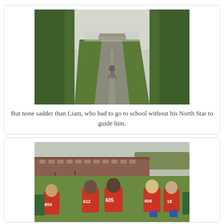[Figure (photo): A person walking away on a gravel path flanked by dense green vegetation, with a wooden covered bridge visible in the misty distance.]
But none sadder than Liam, who had to go to school without his North Star to guide him.
[Figure (photo): A group of young male cross-country runners in red uniforms (numbered 604, 612, 605, 606, 18) viewed from behind, standing on a grass field with a brick building complex in the background.]